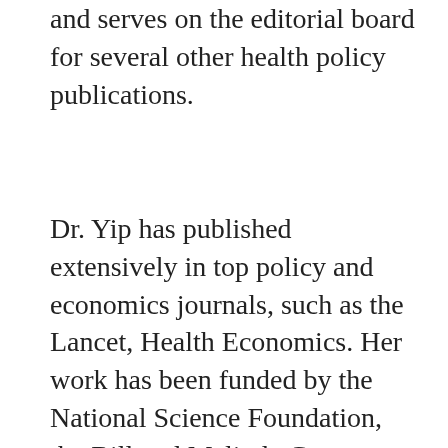and serves on the editorial board for several other health policy publications.
Dr. Yip has published extensively in top policy and economics journals, such as the Lancet, Health Economics. Her work has been funded by the National Science Foundation, the Bill and Melinda Gates Foundation, the Health Result Innovation Trust Fund (HRITF) of the World Bank, the European Union...